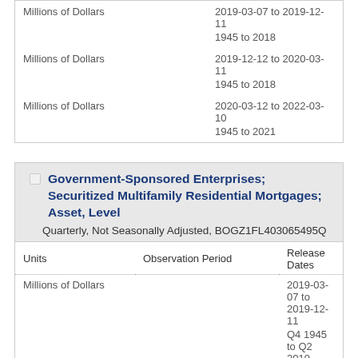| Units | Observation Period | Release Dates |
| --- | --- | --- |
| Millions of Dollars |  | 2019-03-07 to 2019-12-11 |
|  |  | 1945 to 2018 |
| Millions of Dollars |  | 2019-12-12 to 2020-03-11 |
|  |  | 1945 to 2018 |
| Millions of Dollars |  | 2020-03-12 to 2022-03-10 |
|  |  | 1945 to 2021 |
Government-Sponsored Enterprises; Securitized Multifamily Residential Mortgages; Asset, Level
Quarterly, Not Seasonally Adjusted, BOGZ1FL403065495Q
| Units | Observation Period | Release Dates |
| --- | --- | --- |
| Millions of Dollars |  | 2019-03-07 to 2019-12-11 |
|  |  | Q4 1945 to Q2 2019 |
| Millions of Dollars |  | 2019-12-12 to 2020-03-11 |
|  |  | Q4 1945 to Q3 2019 |
| Millions of Dollars |  | 2020-03-12 to 2022-06-09 |
|  |  | Q4 1945 to Q1 2022 |